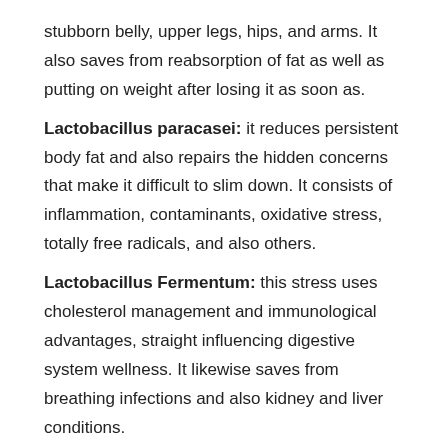stubborn belly, upper legs, hips, and arms. It also saves from reabsorption of fat as well as putting on weight after losing it as soon as.
Lactobacillus paracasei: it reduces persistent body fat and also repairs the hidden concerns that make it difficult to slim down. It consists of inflammation, contaminants, oxidative stress, totally free radicals, and also others.
Lactobacillus Fermentum: this stress uses cholesterol management and immunological advantages, straight influencing digestive system wellness. It likewise saves from breathing infections and also kidney and liver conditions.
Bifidobacterium bifidum: the last name in this checklist is Bifidobacterium bifidum, which makes food digestion much better and quicker. It additionally manages the unpleasant germs in the gut and also stops common digestion issues.